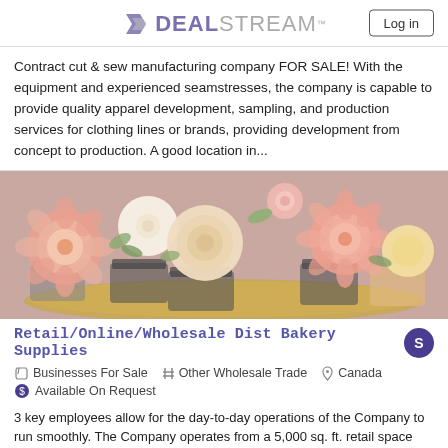DEALSTREAM™ | Log in
Contract cut & sew manufacturing company FOR SALE! With the equipment and experienced seamstresses, the company is capable to provide quality apparel development, sampling, and production services for clothing lines or brands, providing development from concept to production. A good location in...
[Figure (photo): Close-up photo of beautifully decorated cupcakes with floral frosting in pink and cream tones, displayed on a gold tray.]
Retail/Online/Wholesale Dist Bakery Supplies
🏷 Businesses For Sale  # Other Wholesale Trade  📍 Canada
💲 Available On Request
3 key employees allow for the day-to-day operations of the Company to run smoothly. The Company operates from a 5,000 sq. ft. retail space and 8,000 sq...